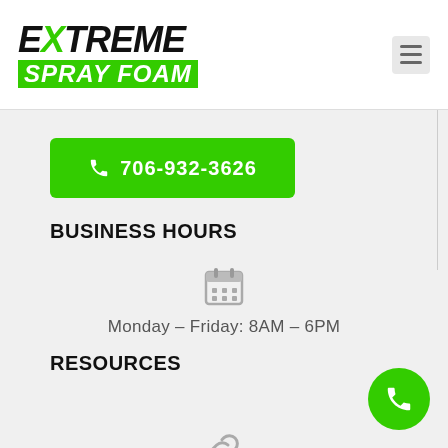[Figure (logo): Extreme Spray Foam logo with black italic text EXTREME and green bold italic text SPRAY FOAM on green background]
706-932-3626
BUSINESS HOURS
[Figure (illustration): Calendar icon in gray]
Monday – Friday: 8AM – 6PM
RESOURCES
[Figure (illustration): Chain link icon in gray]
SERVICE AREA